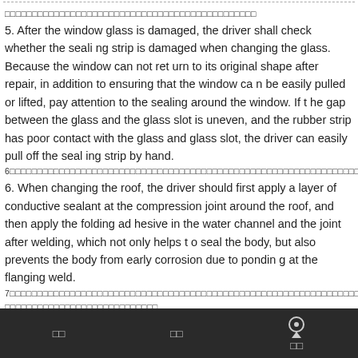（上述情况下，驾驶员应检查密封条是否损坏）
5. After the window glass is damaged, the driver shall check whether the sealing strip is damaged when changing the glass. Because the window can not return to its original shape after repair, in addition to ensuring that the window can be easily pulled or lifted, pay attention to the sealing around the window. If the gap between the glass and the glass slot is uneven, and the rubber strip has poor contact with the glass and glass slot, the driver can easily pull off the sealing strip by hand.
6（换顶时，驾驶员应先在车顶四周的压合接缝处涂一层导电密封胶，然后在水道及焊接后的接缝处涂折叠胶）
6. When changing the roof, the driver should first apply a layer of conductive sealant at the compression joint around the roof, and then apply the folding adhesive in the water channel and the joint after welding, which not only helps to seal the body, but also prevents the body from early corrosion due to ponding at the flanging weld.
7（自动上料混凝土搅拌机的天窗是基本配置，天窗的密封性能对驾驶室内部的防水性能至关重要）
（天窗密封条的维护与更换）
7. The skylight of automatic loading concrete mixer is the basic configuration
首页    分享    首页